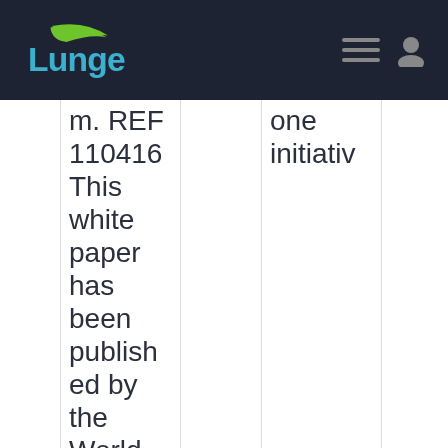Lunge
m. REF 110416 This white paper has been published by the World Economic Forum as a contribution to a project, insight a
one initiativ